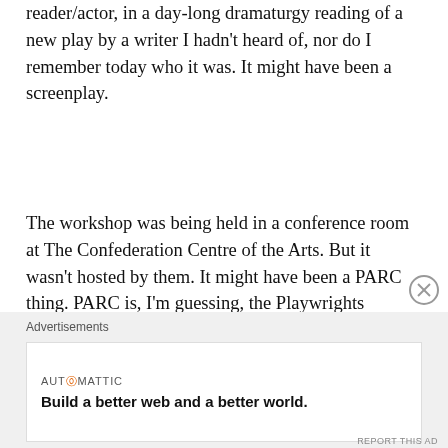reader/actor, in a day-long dramaturgy reading of a new play by a writer I hadn't heard of, nor do I remember today who it was. It might have been a screenplay.
The workshop was being held in a conference room at The Confederation Centre of the Arts. But it wasn't hosted by them. It might have been a PARC thing. PARC is, I'm guessing, the Playwrights Atlantic Resource Council, and they're still a thing. They've asked me to join their community a few times, but scroll up and read paragraph two again.
I was pleased to be asked to take part, and I was a bit nervous walking into the room. I took comfort in recognizing a number of the faces, and people seemed to
Advertisements
AUTOMATTIC
Build a better web and a better world.